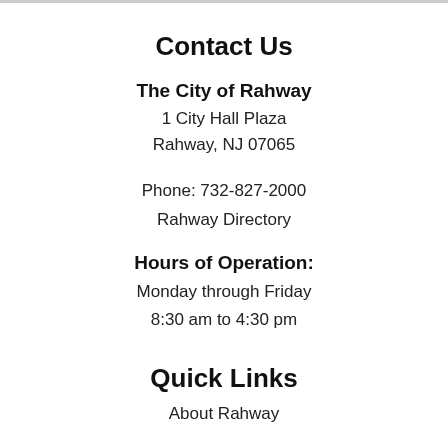Contact Us
The City of Rahway
1 City Hall Plaza
Rahway, NJ 07065
Phone: 732-827-2000
Rahway Directory
Hours of Operation:
Monday through Friday
8:30 am to 4:30 pm
Quick Links
About Rahway